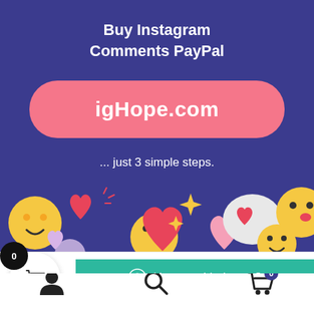[Figure (screenshot): Promotional banner for igHope.com on a dark purple/navy background. Shows 'Buy Instagram Comments PayPal' title text in white, a pink rounded button with 'igHope.com', text '... just 3 simple steps.', and decorative emoji/heart icons along the bottom. Overlaid UI elements include a shopping cart circle button, a teal WhatsApp chat bar saying 'How can I help you?', and a partial link 'to Buy Instagram Co...']
Buy Instagram Comments PayPal
igHope.com
... just 3 simple steps.
How can I help you?
to Buy Instagram Co
[Figure (screenshot): Bottom navigation toolbar with user/account icon, search magnifier icon, and shopping cart icon with badge showing '0']